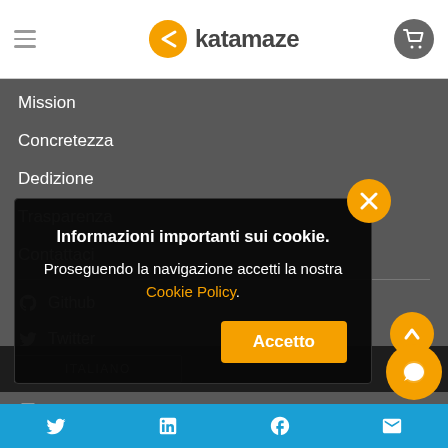[Figure (screenshot): Katamaze website navigation menu screenshot with cookie consent modal overlay. Header shows hamburger menu, Katamaze logo (orange circular icon with arrow and brand name), and cart icon. Navigation items: Mission, Concretezza, Dedizione, Trasparenza, Contattaci, Github, Twitter, Facebook, LinkedIn. A dark cookie notice modal reads 'Informazioni importanti sui cookie. Proseguendo la navigazione accetti la nostra Cookie Policy.' with an orange Accetto button and orange X close button. Orange scroll-up arrow button visible. Orange chat bubble at bottom right. Blue bottom bar with social icons.]